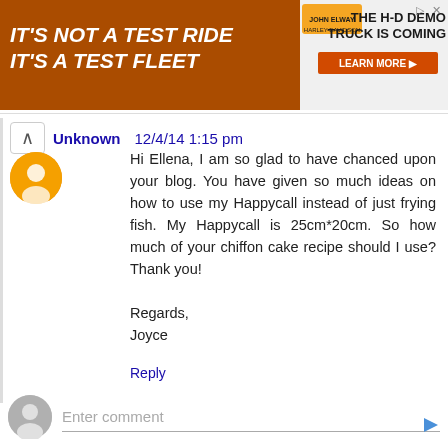[Figure (illustration): Harley-Davidson advertisement banner: orange background with 'IT'S NOT A TEST RIDE IT'S A TEST FLEET' text on the left, a truck image, John Elway Harley-Davidson logo, and a right panel with 'THE H-D DEMO TRUCK IS COMING' and a LEARN MORE button.]
Unknown 12/4/14 1:15 pm
Hi Ellena, I am so glad to have chanced upon your blog. You have given so much ideas on how to use my Happycall instead of just frying fish. My Happycall is 25cm*20cm. So how much of your chiffon cake recipe should I use? Thank you!

Regards,
Joyce
Reply
Enter comment